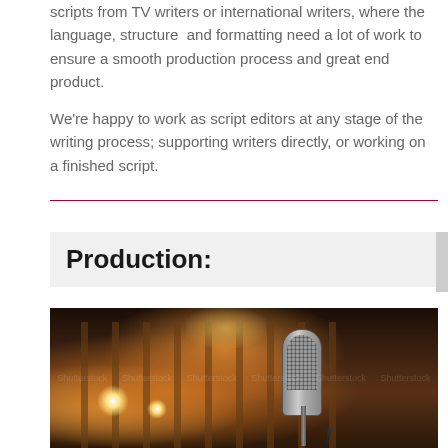scripts from TV writers or international writers, where the language, structure and formatting need a lot of work to ensure a smooth production process and great end product.

We're happy to work as script editors at any stage of the writing process; supporting writers directly, or working on a finished script.
Production:
[Figure (photo): A professional studio microphone in a dimly lit recording studio environment, with warm amber/orange lighting and bokeh background suggesting studio panels or curtains. The microphone is a large condenser type, prominently positioned on the right side of the image.]